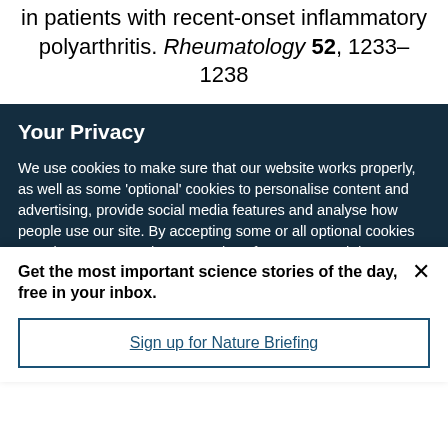in patients with recent-onset inflammatory polyarthritis. Rheumatology 52, 1233–1238
Your Privacy
We use cookies to make sure that our website works properly, as well as some 'optional' cookies to personalise content and advertising, provide social media features and analyse how people use our site. By accepting some or all optional cookies you give consent to the processing of your personal data, including transfer to third parties, some in countries outside of the European Economic Area that do not offer the same data protection standards as the country where you live. You can decide which optional cookies to accept by clicking on 'Manage Settings', where you can
Get the most important science stories of the day, free in your inbox.
Sign up for Nature Briefing